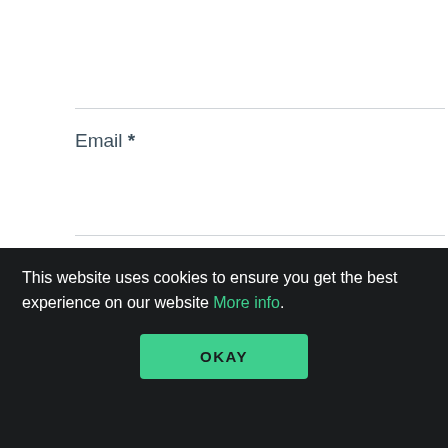Email *
Website
This website uses cookies to ensure you get the best experience on our website More info.
OKAY